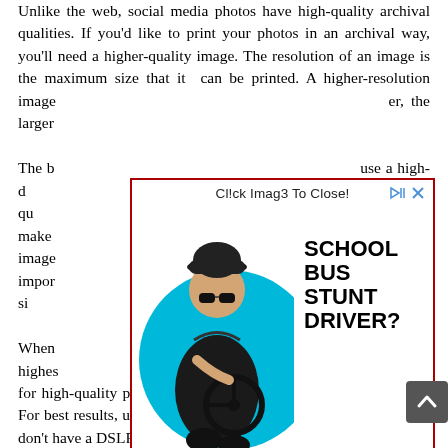Unlike the web, social media photos have high-quality archival qualities. If you'd like to print your photos in an archival way, you'll need a higher-quality image. The resolution of an image is the maximum size that it can be printed. A higher-resolution image [obscured by ad] er, the larger [obscured by ad]
[Figure (screenshot): Advertisement overlay with red border showing text 'Cl!ck Imag3 To Close!' at top with close icons, an image of a man in black leather jacket and cap sitting at a steering wheel against a cyan/blue circle background, and bold text 'SCHOOL BUS STUNT DRIVER?' on the right side.]
The b[obscured] use a high-d[obscured] photo, its qu[obscured] ant to make[obscured] lution image[obscured] er. It's impor[obscured] larger file, si[obscured]
When[obscured] e the highes[obscured] lution image is crucial for high-quality prints, and a low-resolution image isn't as good. For best results, use RAW files from [obscured] frame cameras. If you don't have a DSLR, you can upload